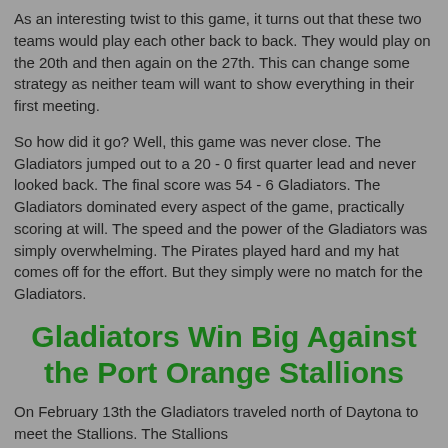As an interesting twist to this game, it turns out that these two teams would play each other back to back. They would play on the 20th and then again on the 27th. This can change some strategy as neither team will want to show everything in their first meeting.
So how did it go? Well, this game was never close. The Gladiators jumped out to a 20 - 0 first quarter lead and never looked back. The final score was 54 - 6 Gladiators. The Gladiators dominated every aspect of the game, practically scoring at will. The speed and the power of the Gladiators was simply overwhelming. The Pirates played hard and my hat comes off for the effort. But they simply were no match for the Gladiators.
Gladiators Win Big Against the Port Orange Stallions
On February 13th the Gladiators traveled north of Daytona to meet the Stallions. The Stallions
are a young team with a great QB and receiver tandem. They also